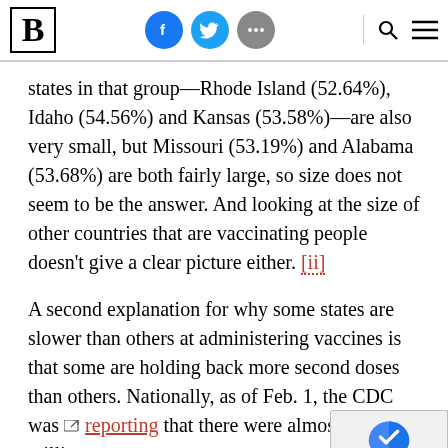Brookings Institution navigation bar with logo, social icons (Facebook, Twitter, more), search, and menu
states in that group—Rhode Island (52.64%), Idaho (54.56%) and Kansas (53.58%)—are also very small, but Missouri (53.19%) and Alabama (53.68%) are both fairly large, so size does not seem to be the answer. And looking at the size of other countries that are vaccinating people doesn't give a clear picture either. [ii]
A second explanation for why some states are slower than others at administering vaccines is that some are holding back more second doses than others. Nationally, as of Feb. 1, the CDC was reporting that there were almost 50 million n...